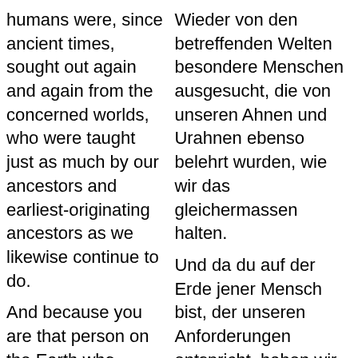humans were, since ancient times, sought out again and again from the concerned worlds, who were taught just as much by our ancestors and earliest-originating ancestors as we likewise continue to do.
And because you are that person on the Earth who meets our requirements, naturally, we have considered your person for the teaching mission and as the announcer of the spiritual instructions.
Indeed, there are different vaguenesses in respect of
Wieder von den betreffenden Welten besondere Menschen ausgesucht, die von unseren Ahnen und Urahnen ebenso belehrt wurden, wie wir das gleichermassen halten.
Und da du auf der Erde jener Mensch bist, der unseren Anforderungen entspricht, haben wir selbstverständlich deine Person für die Belehrungsmission und als Künder der Lehre des Geistes in Betracht gezogen.
Zwar bestehen verschiedene Unklarheiten